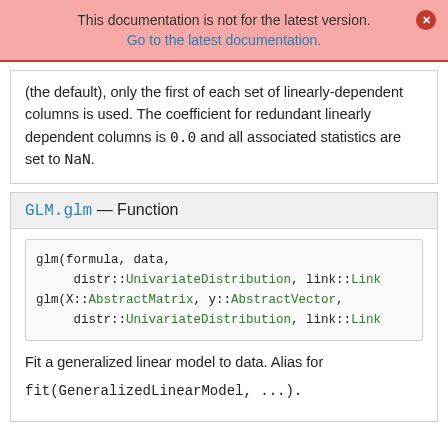This documentation is not for the latest version. Go to the latest documentation.
(the default), only the first of each set of linearly-dependent columns is used. The coefficient for redundant linearly dependent columns is 0.0 and all associated statistics are set to NaN.
GLM.glm — Function
glm(formula, data, distr::UnivariateDistribution, link::Link
    glm(X::AbstractMatrix, y::AbstractVector, distr::UnivariateDistribution, link::Link
Fit a generalized linear model to data. Alias for fit(GeneralizedLinearModel, ...).